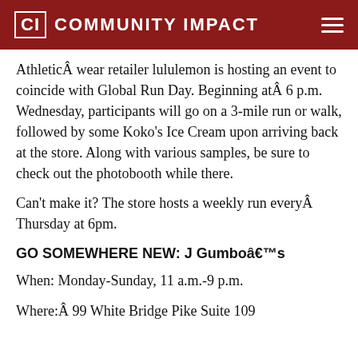CI COMMUNITY IMPACT
AthleticÂ wear retailer lululemon is hosting an event to coincide with Global Run Day. Beginning atÂ 6 p.m. Wednesday, participants will go on a 3-mile run or walk, followed by some Koko's Ice Cream upon arriving back at the store. Along with various samples, be sure to check out the photobooth while there.
Can't make it? The store hosts a weekly run everyÂ Thursday at 6pm.
GO SOMEWHERE NEW: J Gumboâ€™s
When: Monday-Sunday, 11 a.m.-9 p.m.
Where:Â 99 White Bridge Pike Suite 109